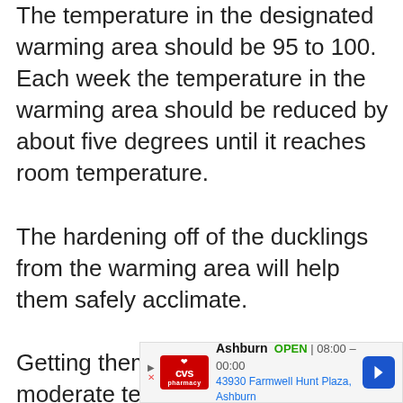The temperature in the designated warming area should be 95 to 100. Each week the temperature in the warming area should be reduced by about five degrees until it reaches room temperature.

The hardening off of the ducklings from the warming area will help them safely acclimate.

Getting them used to a more moderate temperature before they permanently relocate outside with the rest of the flock is a good idea.
[Figure (other): CVS Pharmacy advertisement banner showing store location in Ashburn, open hours 08:00–00:00, address 43930 Farmwell Hunt Plaza, Ashburn, with navigation arrow icon]